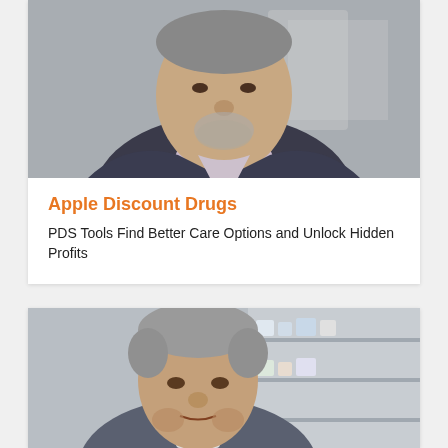[Figure (photo): Portrait photo of an older man in a dark blazer with a light purple shirt, smiling, photographed indoors]
Apple Discount Drugs
PDS Tools Find Better Care Options and Unlock Hidden Profits
[Figure (photo): Portrait photo of a middle-aged man with grey hair, photographed in what appears to be a pharmacy with shelves in the background]